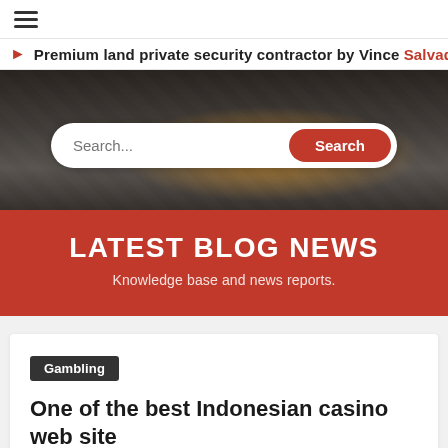☰ (hamburger menu)
Premium land private security contractor by Vince Salvada...
[Figure (screenshot): City street crowd photo background with search bar overlay. Search input field with placeholder 'Search...' and a red 'Search' button.]
LATEST BLOG NEWS
Knowledge base and news reports.
Gambling
One of the best Indonesian casino web site